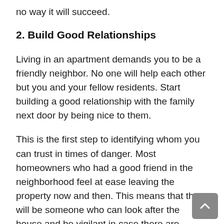no way it will succeed.
2. Build Good Relationships
Living in an apartment demands you to be a friendly neighbor. No one will help each other but you and your fellow residents. Start building a good relationship with the family next door by being nice to them.
This is the first step to identifying whom you can trust in times of danger. Most homeowners who had a good friend in the neighborhood feel at ease leaving the property now and then. This means that there will be someone who can look after the house and be vigilant in case there are